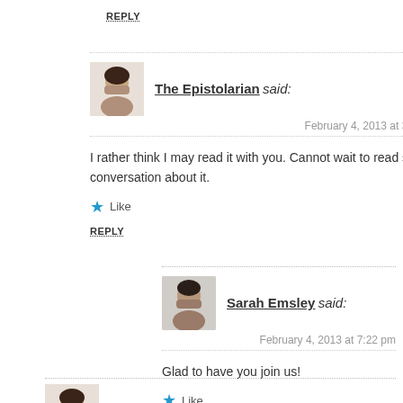REPLY
The Epistolarian said:
February 4, 2013 at 3:42 pm
I rather think I may read it with you. Cannot wait to read some conversation about it.
Like
REPLY
Sarah Emsley said:
February 4, 2013 at 7:22 pm
Glad to have you join us!
Like
REPLY
The Epistolarian